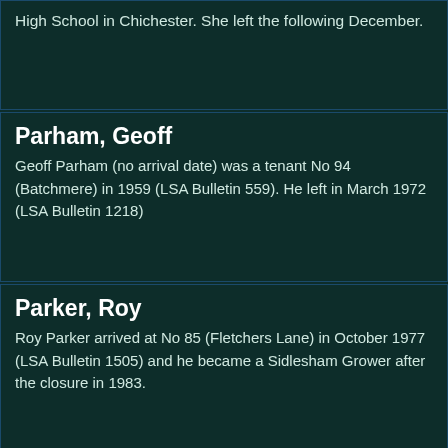High School in Chichester. She left the following December.
Parham, Geoff
Geoff Parham (no arrival date) was a tenant No 94 (Batchmere) in 1959 (LSA Bulletin 559). He left in March 1972 (LSA Bulletin 1218)
Parker, Roy
Roy Parker arrived at No 85 (Fletchers Lane) in October 1977 (LSA Bulletin 1505) and he became a Sidlesham Grower after the closure in 1983.
Parkinson, Ken & Jan
No 51 - arrived in 1971 and established Jakes Nursery which traded until 2018.
Parry, David